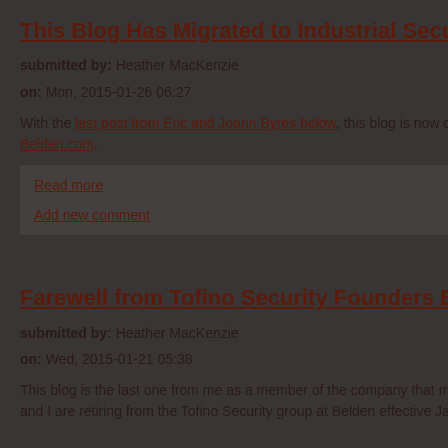This Blog Has Migrated to Industrial Security at Belden.com
submitted by: Heather MacKenzie
on: Mon, 2015-01-26 06:27
With the last post from Eric and Joann Byres below, this blog is now closed.  Howe... Belden.com.
Read more
Add new comment
Farewell from Tofino Security Founders Eric and Jo...
submitted by: Heather MacKenzie
on: Wed, 2015-01-21 05:38
This blog is the last one from me as a member of the company that manufactures a... and I are retiring from the Tofino Security group at Belden effective January 30, 201...